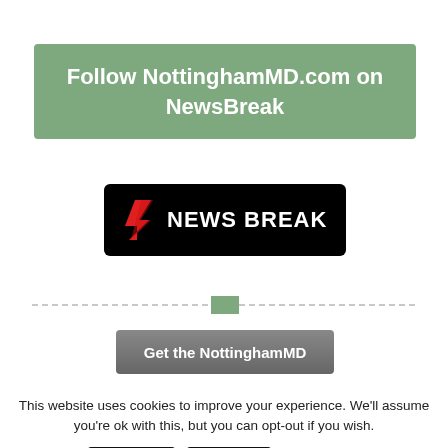Follow NottinghamMD.com on NewsBreak
[Figure (logo): NewsBreak logo: black rounded rectangle with red lightning bolt N icon and white text NEWS BREAK]
[Figure (other): Decorative divider with dashed lines and a green square in the center]
[Figure (other): Gray button labeled 'Get the NottinghamMD']
This website uses cookies to improve your experience. We'll assume you're ok with this, but you can opt-out if you wish.
Accept   Reject   Read More